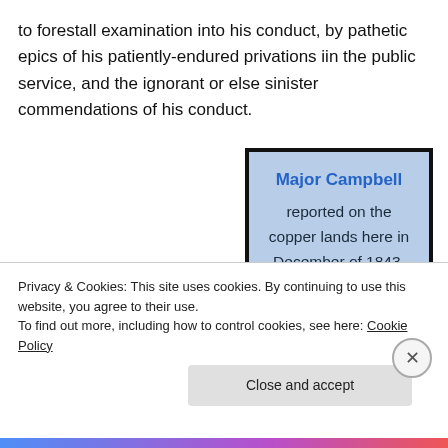to forestall examination into his conduct, by pathetic epics of his patiently-endured privations iin the public service, and the ignorant or else sinister commendations of his conduct.
[Figure (infographic): Blue callout box with black border containing bold blue heading 'Major Campbell' and body text 'reported on the copper lands here in December of 1843.']
Privacy & Cookies: This site uses cookies. By continuing to use this website, you agree to their use.
To find out more, including how to control cookies, see here: Cookie Policy
Close and accept